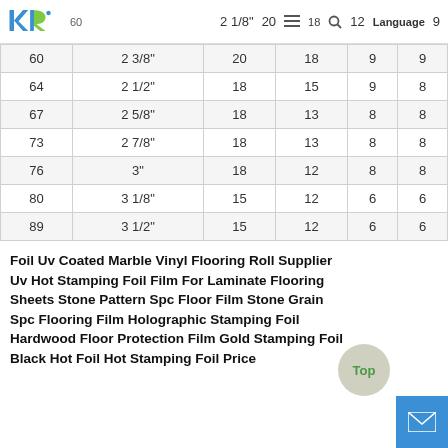KR Logo | 20 18 12 9 Language
| 60 | 2 3/8" | 20 | 18 | 9 | 9 |
| 64 | 2 1/2" | 18 | 15 | 9 | 8 |
| 67 | 2 5/8" | 18 | 13 | 8 | 8 |
| 73 | 2 7/8" | 18 | 13 | 8 | 8 |
| 76 | 3" | 18 | 12 | 8 | 8 |
| 80 | 3 1/8" | 15 | 12 | 6 | 6 |
| 89 | 3 1/2" | 15 | 12 | 6 | 6 |
Foil Uv Coated Marble Vinyl Flooring Roll Supplier Uv Hot Stamping Foil Film For Laminate Flooring Sheets Stone Pattern Spc Floor Film Stone Grain Spc Flooring Film Holographic Stamping Foil Hardwood Floor Protection Film Gold Stamping Foil Black Hot Foil Hot Stamping Foil Price